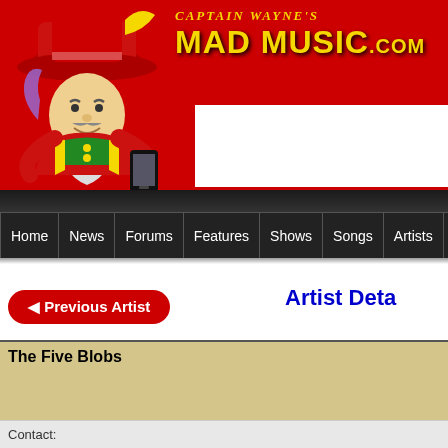Captain Wayne's Mad Music .com
[Figure (illustration): Cartoon pirate character wearing red hat and coat, holding a smartphone, on red background]
[Figure (other): White advertisement box placeholder]
Home | News | Forums | Features | Shows | Songs | Artists | Videos
◄ Previous Artist
Artist Details
The Five Blobs
Contact: